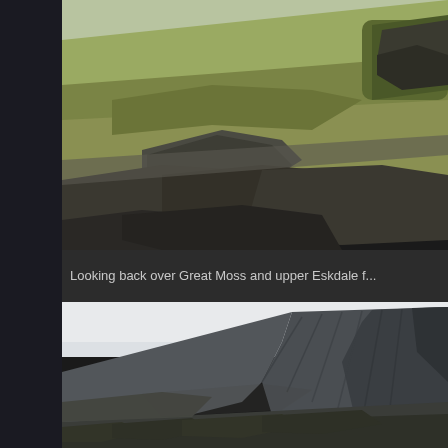[Figure (photo): Aerial/hillside view looking back over Great Moss and upper Eskdale, showing grassy moorland with rocky outcrops and stone formations in the foreground]
Looking back over Great Moss and upper Eskdale f...
[Figure (photo): Rocky mountain face/cliff showing steep dark rock formations against an overcast sky, likely Scafell or similar Lake District peak]